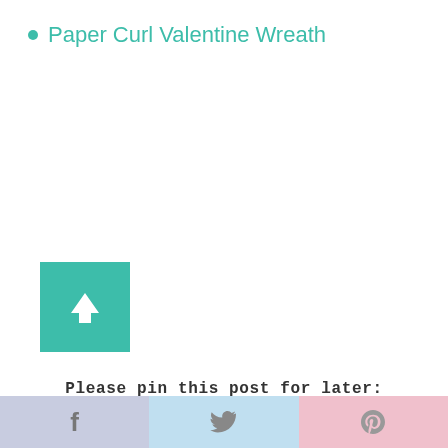Paper Curl Valentine Wreath
[Figure (other): Teal/turquoise square button with a white upward arrow icon, used as a scroll-to-top button]
Please pin this post for later:
[Figure (photo): Partial image of a craft/DIY item at the bottom of the page]
f  |  Twitter bird icon  |  p